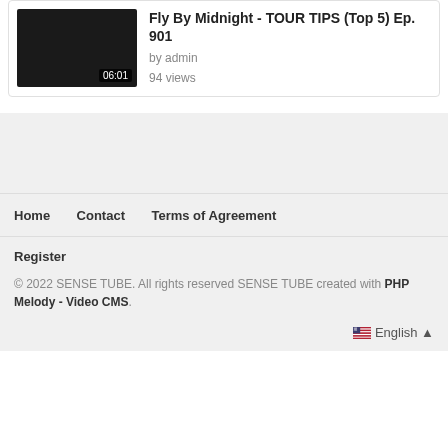[Figure (screenshot): Video thumbnail showing dark/black image with duration badge 06:01]
Fly By Midnight - TOUR TIPS (Top 5) Ep. 901
by admin
94 views
Home   Contact   Terms of Agreement
Register
© 2022 SENSE TUBE. All rights reserved SENSE TUBE created with PHP Melody - Video CMS.
English